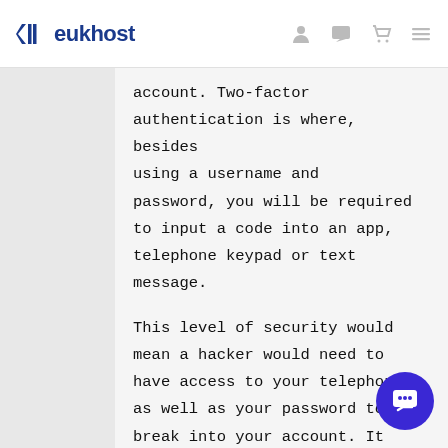eukhost
account. Two-factor authentication is where, besides using a username and password, you will be required to input a code into an app, telephone keypad or text message.
This level of security would mean a hacker would need to have access to your telephone as well as your password to break into your account. It makes it much more secure.